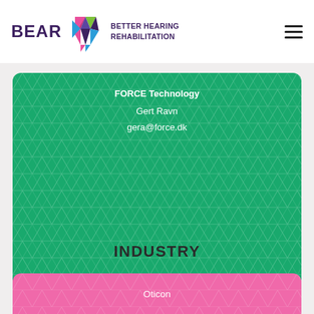[Figure (logo): BEAR Better Hearing Rehabilitation logo with colorful hexagonal gem shape]
FORCE Technology
Gert Ravn
gera@force.dk
INDUSTRY
Oticon